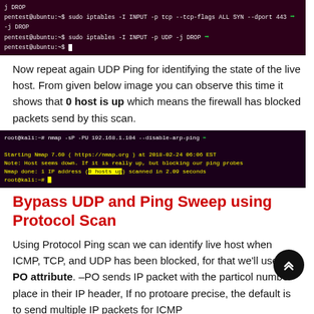[Figure (screenshot): Terminal showing iptables DROP commands on pentest@ubuntu]
Now repeat again UDP Ping for identifying the state of the live host. From given below image you can observe this time it shows that 0 host is up which means the firewall has blocked packets send by this scan.
[Figure (screenshot): Terminal showing nmap -sP -PU 192.168.1.104 --disable-arp-ping with result: 0 hosts up]
Bypass UDP and Ping Sweep using Protocol Scan
Using Protocol Ping scan we can identify live host when ICMP, TCP, and UDP has been blocked, for that we'll use –PO attribute. –PO sends IP packet with the particular protocol number place in their IP header, If no protocols are precise, the default is to send multiple IP packets for ICMP